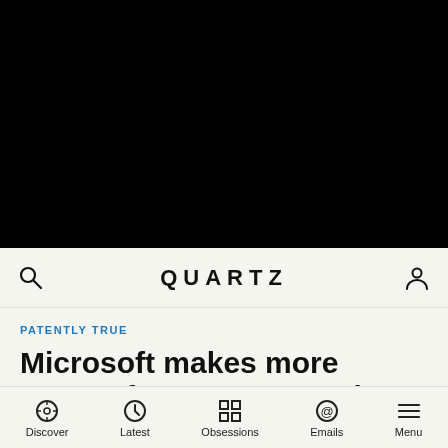[Figure (photo): Black image area at top of page, representing a video or image that is not visible]
QUARTZ
PATENTLY TRUE
Microsoft makes more money from Samsung than from Skype,